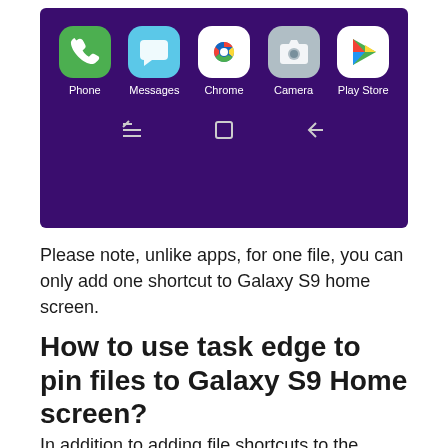[Figure (screenshot): Samsung Galaxy S9 home screen dock showing Phone, Messages, Chrome, Camera, and Play Store app icons on a dark purple background, with navigation bar icons below.]
Please note, unlike apps, for one file, you can only add one shortcut to Galaxy S9 home screen.
How to use task edge to pin files to Galaxy S9 Home screen?
In addition to adding file shortcuts to the